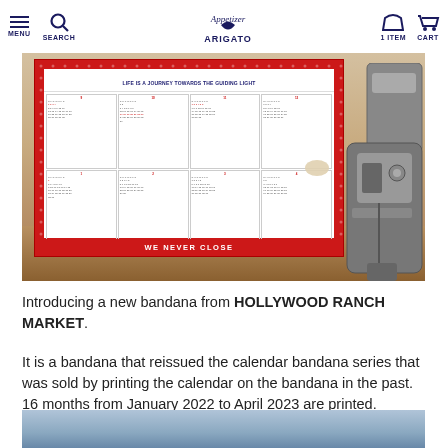MENU  SEARCH  [APPETIZER ARIGATO logo]  1 ITEM  CART
[Figure (photo): A red and white polka-dot bandana calendar on a wall with text 'LIFE IS A JOURNEY TOWARDS THE GUIDING LIGHT' at top and 'WE NEVER CLOSE' at bottom, with a sewing machine visible on the right side.]
Introducing a new bandana from HOLLYWOOD RANCH MARKET.
It is a bandana that reissued the calendar bandana series that was sold by printing the calendar on the bandana in the past. 16 months from January 2022 to April 2023 are printed.
[Figure (photo): Partial view of denim fabric, bottom of page.]